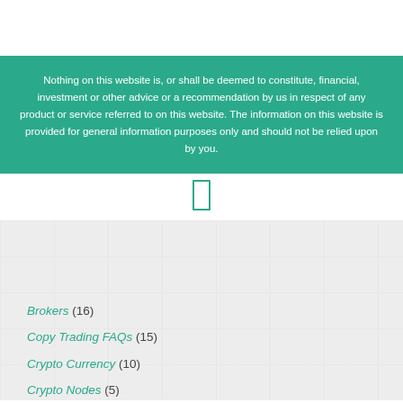Nothing on this website is, or shall be deemed to constitute, financial, investment or other advice or a recommendation by us in respect of any product or service referred to on this website. The information on this website is provided for general information purposes only and should not be relied upon by you.
[Figure (other): A small bracket/rectangle icon in teal color]
Brokers (16)
Copy Trading FAQs (15)
Crypto Currency (10)
Crypto Nodes (5)
Fixed Rate Bond (1)